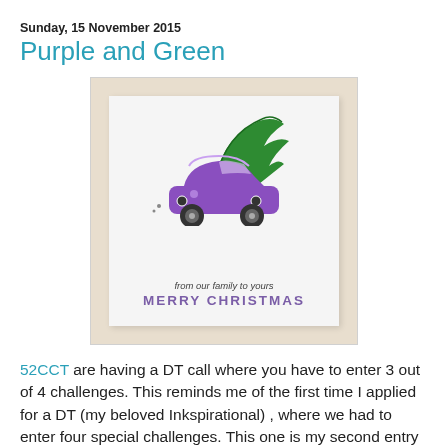Sunday, 15 November 2015
Purple and Green
[Figure (photo): A handmade Christmas card showing a purple cartoon car with a green Christmas tree tied on top, with text 'from our family to yours' and 'MERRY CHRISTMAS' in purple lettering. The card is photographed against a beige/tan background.]
52CCT are having a DT call where you have to enter 3 out of 4 challenges. This reminds me of the first time I applied for a DT (my beloved Inkspirational) , where we had to enter four special challenges. This one is my second entry for 52CCT